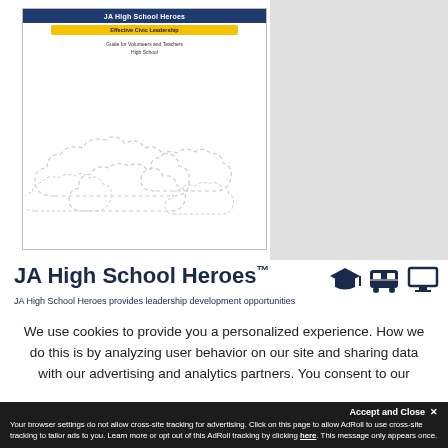[Figure (illustration): Book cover for JA High School Heroes showing title, Effective Civic Leadership subtitle bar, Guide for Volunteers and Teachers tagline, and decorative cloud shapes on white background]
JA High School Heroes™
JA High School Heroes provides leadership development opportunities
We use cookies to provide you a personalized experience. How we do this is by analyzing user behavior on our site and sharing data with our advertising and analytics partners. You consent to our cookie policy if you continue to use this
Accept and Close ✕
Your browser settings do not allow cross-site tracking for advertising. Click on this page to allow AdRoll to use cross-site tracking to tailor ads to you. Learn more or opt out of this AdRoll tracking by clicking here. This message only appears once.